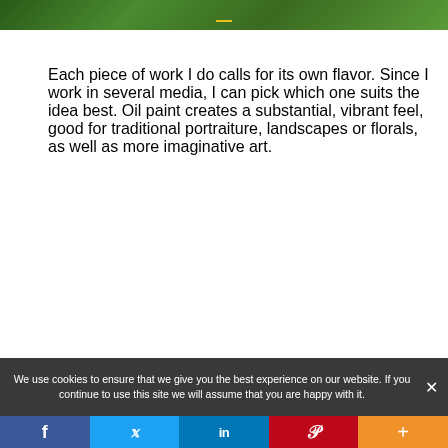[Figure (photo): Top portion of a floral/garden photograph showing green foliage with red and yellow flowers]
Each piece of work I do calls for its own flavor. Since I work in several media, I can pick which one suits the idea best. Oil paint creates a substantial, vibrant feel, good for traditional portraiture, landscapes or florals, as well as more imaginative art.
[Figure (photo): Bottom portion of a garden photograph showing green foliage with yellow and red/orange flowers]
We use cookies to ensure that we give you the best experience on our website. If you continue to use this site we will assume that you are happy with it.
Social sharing bar with Facebook, Twitter, LinkedIn, Pinterest, and Add buttons